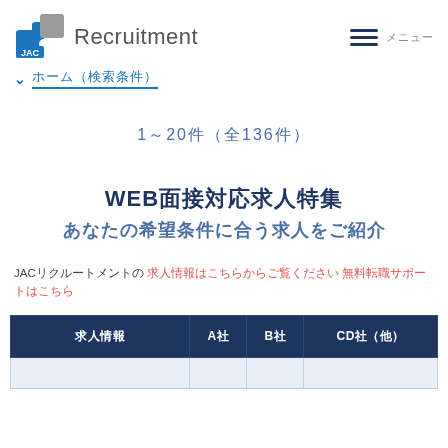JAC Recruitment
ホーム（dropdown）
1～20件（全136件）
WEB面接対応求人特集　 あなたの希望条件に合う求人をご紹介
JACリクルートメントの 求人情報はこちらからご覧ください 無料転職サポートはこちら
| 求人情報 | A社 | B社 | CD社（他） |
| --- | --- | --- | --- |
|  |  |  |  |